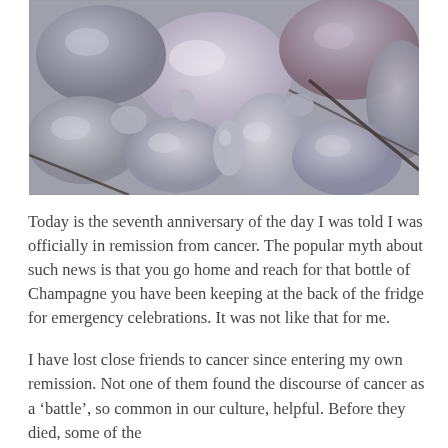[Figure (photo): Close-up photograph of smooth, rounded grey and beige river pebbles/stones piled together, with some dark twigs or branches visible among them.]
Today is the seventh anniversary of the day I was told I was officially in remission from cancer. The popular myth about such news is that you go home and reach for that bottle of Champagne you have been keeping at the back of the fridge for emergency celebrations. It was not like that for me.
I have lost close friends to cancer since entering my own remission. Not one of them found the discourse of cancer as a ‘battle’, so common in our culture, helpful. Before they died, some of them